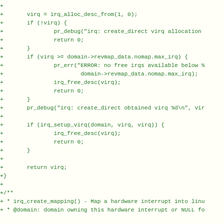+
+       virq = irq_alloc_desc_from(1, 0);
+       if (!virq) {
+               pr_debug("irq: create_direct virq allocation
+               return 0;
+       }
+       if (virq >= domain->revmap_data.nomap.max_irq) {
+               pr_err("ERROR: no free irqs available below %
+                       domain->revmap_data.nomap.max_irq);
+               irq_free_desc(virq);
+               return 0;
+       }
+       pr_debug("irq: create_direct obtained virq %d\n", vir
+
+       if (irq_setup_virq(domain, virq, virq)) {
+               irq_free_desc(virq);
+               return 0;
+       }
+
+       return virq;
+}
+
+/**
+ * irq_create_mapping() - Map a hardware interrupt into linu
+ * @domain: domain owning this hardware interrupt or NULL fo